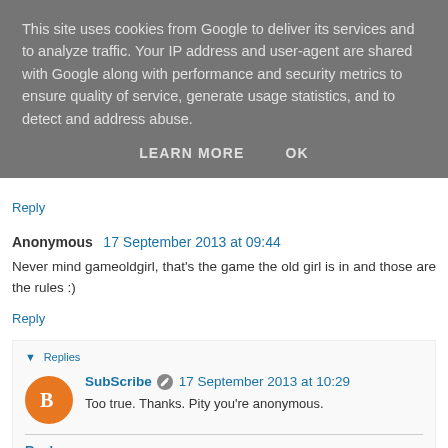This site uses cookies from Google to deliver its services and to analyze traffic. Your IP address and user-agent are shared with Google along with performance and security metrics to ensure quality of service, generate usage statistics, and to detect and address abuse.
LEARN MORE   OK
Reply
Anonymous  17 September 2013 at 09:44
Never mind gameoldgirl, that's the game the old girl is in and those are the rules :)
Reply
▾ Replies
SubScribe  17 September 2013 at 10:29
Too true. Thanks. Pity you're anonymous.
Reply